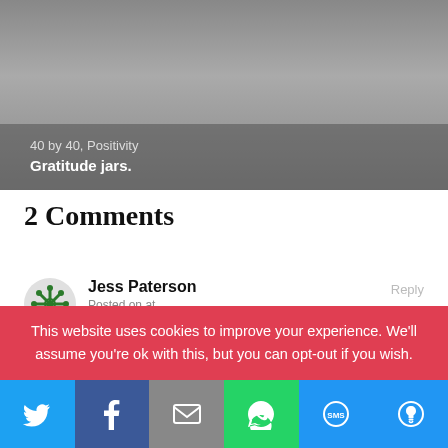[Figure (photo): Hero image with gray gradient background showing blog post header with '40 by 40, Positivity' subtitle and 'Gratitude jars.' title]
2 Comments
Jess Paterson
Posted on at
Great post, I like your positivity. Thanks for
This website uses cookies to improve your experience. We'll assume you're ok with this, but you can opt-out if you wish.
[Figure (infographic): Social share bar with Twitter, Facebook, Email, WhatsApp, SMS, and More buttons]